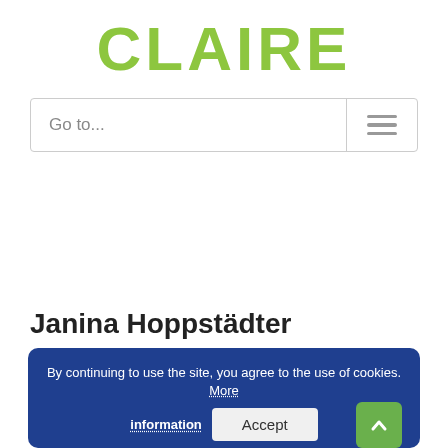[Figure (logo): CLAIRE logo in bold green text]
[Figure (screenshot): Navigation bar with 'Go to...' dropdown and hamburger menu icon]
Janina Hoppstädter
By continuing to use the site, you agree to the use of cookies. More information  Accept